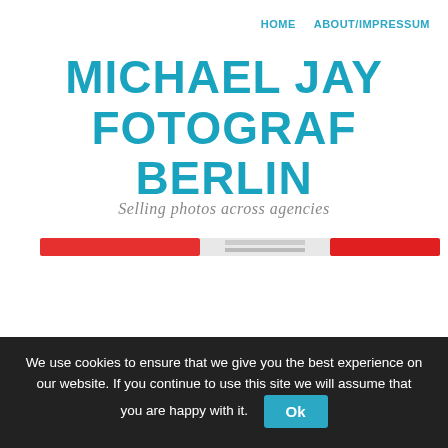HOME    ABOUT/IMPRESSUM
MICHAEL JAY FOTOGRAF BERLIN
Selling photos across agencies
[Figure (photo): Partial view of a red and white object, appears to be a cropped photograph used as a banner/hero image]
We use cookies to ensure that we give you the best experience on our website. If you continue to use this site we will assume that you are happy with it.  Ok